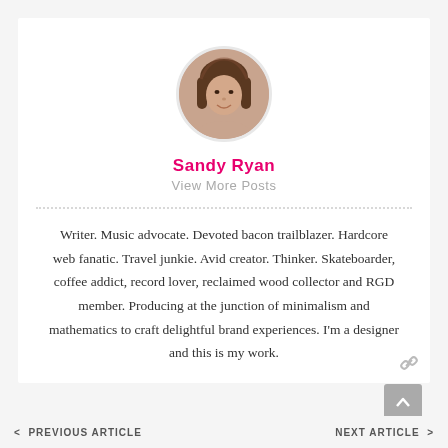[Figure (photo): Circular avatar photo of a woman with brown hair, Sandy Ryan]
Sandy Ryan
View More Posts
Writer. Music advocate. Devoted bacon trailblazer. Hardcore web fanatic. Travel junkie. Avid creator. Thinker. Skateboarder, coffee addict, record lover, reclaimed wood collector and RGD member. Producing at the junction of minimalism and mathematics to craft delightful brand experiences. I'm a designer and this is my work.
< PREVIOUS ARTICLE   NEXT ARTICLE >